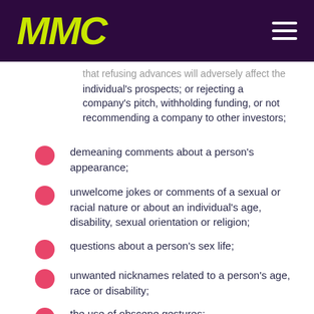[Figure (logo): MMC logo in yellow-green italic bold text on dark purple background with hamburger menu icon]
that refusing advances will adversely affect the individual's prospects; or rejecting a company's pitch, withholding funding, or not recommending a company to other investors;
demeaning comments about a person's appearance;
unwelcome jokes or comments of a sexual or racial nature or about an individual's age, disability, sexual orientation or religion;
questions about a person's sex life;
unwanted nicknames related to a person's age, race or disability;
the use of obscene gestures;